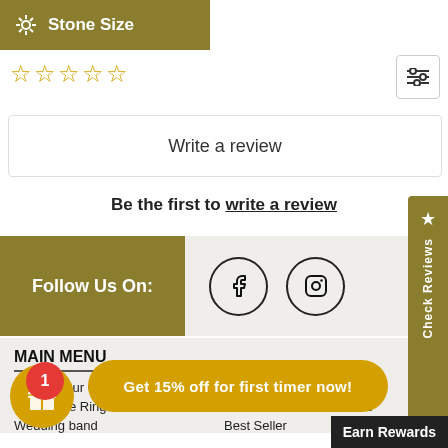Stone Size
[Figure (other): Five empty star rating icons in gold/yellow outline]
[Figure (other): Filter/sort icon button with three horizontal lines and small circles]
Write a review
Be the first to write a review
Follow Us On:
[Figure (other): Facebook and Instagram social media circle icons]
MAIN MENU
Design Your Own
Private Group
Moissanite Rings
COLORED MOISSANITE
Wedding band
Best Seller
Get 15% off for first timer now!
Earn Rewards
[Figure (other): Check Reviews sidebar button with star icon]
[Figure (other): Gift icon with notification badge showing '1']